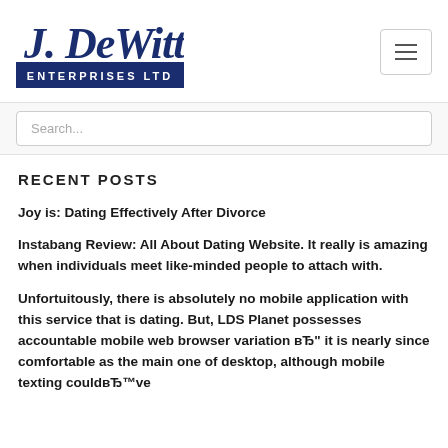[Figure (logo): J. DeWitt Enterprises Ltd logo in navy blue script and block text]
Search...
RECENT POSTS
Joy is: Dating Effectively After Divorce
Instabang Review: All About Dating Website. It really is amazing when individuals meet like-minded people to attach with.
Unfortuitously, there is absolutely no mobile application with this service that is dating. But, LDS Planet possesses accountable mobile web browser variation вЂ" it is nearly since comfortable as the main one of desktop, although mobile texting couldвЂ™ve